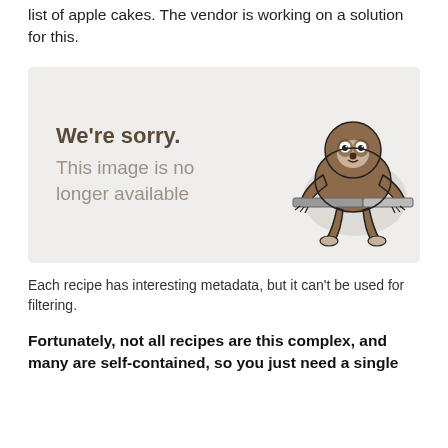list of apple cakes. The vendor is working on a solution for this.
[Figure (illustration): A 'We're sorry. This image is no longer available' placeholder image with a cartoon sloth hanging on a bar, displayed against a light gray background.]
Each recipe has interesting metadata, but it can't be used for filtering.
Fortunately, not all recipes are this complex, and many are self-contained, so you just need a single